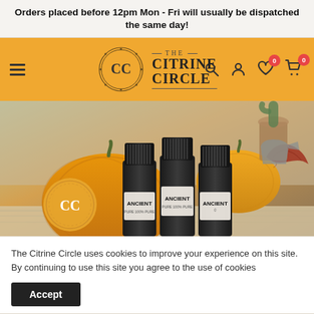Orders placed before 12pm Mon - Fri will usually be dispatched the same day!
[Figure (logo): The Citrine Circle e-commerce navigation bar with hamburger menu, CC logo, brand name, search icon, user icon, wishlist icon with 0 badge, and cart icon with 0 badge on an orange/yellow background]
[Figure (photo): Three Ancient brand essential oil bottles with black caps arranged in front of autumn pumpkins and fall leaves, with Citrine Circle CC watermark logo in bottom left]
The Citrine Circle uses cookies to improve your experience on this site. By continuing to use this site you agree to the use of cookies
Accept